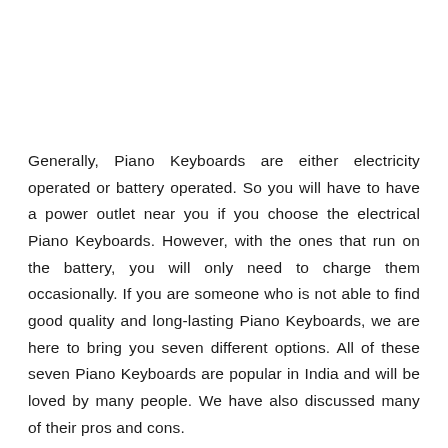Generally, Piano Keyboards are either electricity operated or battery operated. So you will have to have a power outlet near you if you choose the electrical Piano Keyboards. However, with the ones that run on the battery, you will only need to charge them occasionally. If you are someone who is not able to find good quality and long-lasting Piano Keyboards, we are here to bring you seven different options. All of these seven Piano Keyboards are popular in India and will be loved by many people. We have also discussed many of their pros and cons.